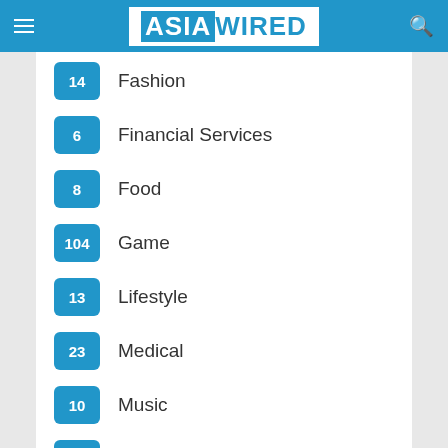ASIA WIRED
14 Fashion
6 Financial Services
8 Food
104 Game
13 Lifestyle
23 Medical
10 Music
7 Sports
123 Technology
43 Travel